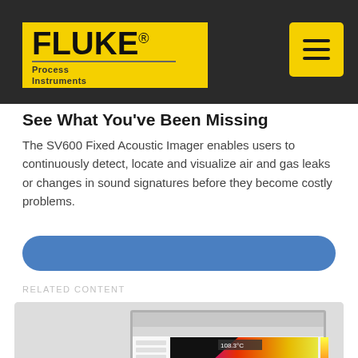FLUKE Process Instruments — navigation header
See What You've Been Missing
The SV600 Fixed Acoustic Imager enables users to continuously detect, locate and visualize air and gas leaks or changes in sound signatures before they become costly problems.
READ MORE
RELATED CONTENT
[Figure (screenshot): Thermal imaging software screenshot displayed on a computer monitor showing a thermal image of an industrial component with a heat gradient (red/orange/yellow/purple color scale), a line profile graph at the bottom showing temperature variation, and text showing Profile Max 220.11C, Min 160.94C. In front of the screen is a white Fluke Process Instruments hardware device.]